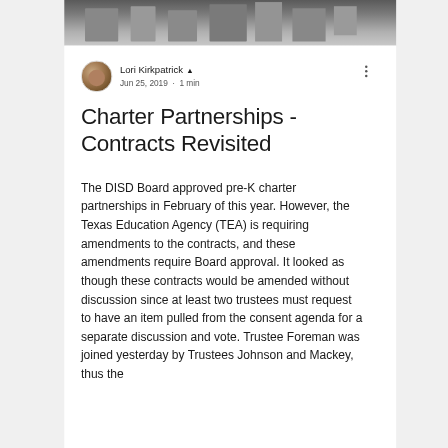[Figure (photo): Top portion of a photo showing a building exterior, partially cropped]
Lori Kirkpatrick  Jun 25, 2019 · 1 min
Charter Partnerships - Contracts Revisited
The DISD Board approved pre-K charter partnerships in February of this year. However, the Texas Education Agency (TEA) is requiring amendments to the contracts, and these amendments require Board approval. It looked as though these contracts would be amended without discussion since at least two trustees must request to have an item pulled from the consent agenda for a separate discussion and vote. Trustee Foreman was joined yesterday by Trustees Johnson and Mackey, thus the